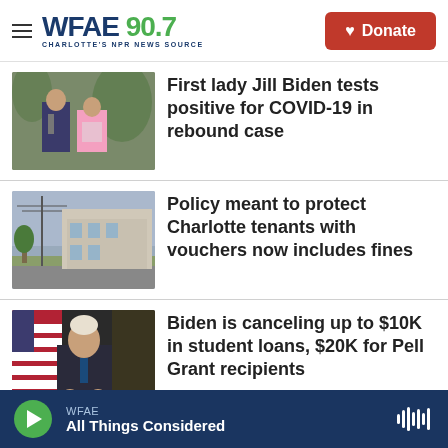WFAE 90.7 — Charlotte's NPR News Source | Donate
[Figure (photo): Photo of Joe Biden and Jill Biden walking outdoors]
First lady Jill Biden tests positive for COVID-19 in rebound case
[Figure (photo): Photo of suburban apartment buildings along a street]
Policy meant to protect Charlotte tenants with vouchers now includes fines
[Figure (photo): Photo of President Biden speaking at a podium with an American flag behind him]
Biden is canceling up to $10K in student loans, $20K for Pell Grant recipients
WFAE — All Things Considered